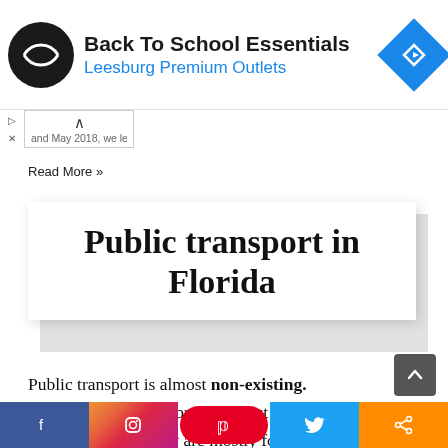[Figure (other): Advertisement banner for 'Back To School Essentials' by Leesburg Premium Outlets with logo and navigation icon]
and May 2018, we left
Read More »
Public transport in Florida
Public transport is almost non-existing. Sure, there are some bus lines, but they do not go to many places and they are mostly for the 'poor people'.
[Figure (other): Social sharing bar with Facebook, Instagram, Pinterest, Twitter, and share buttons]